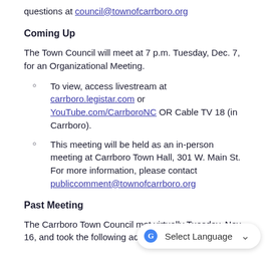questions at council@townofcarrboro.org
Coming Up
The Town Council will meet at 7 p.m. Tuesday, Dec. 7, for an Organizational Meeting.
To view, access livestream at carrboro.legistar.com or YouTube.com/CarrboroNC OR Cable TV 18 (in Carrboro).
This meeting will be held as an in-person meeting at Carrboro Town Hall, 301 W. Main St. For more information, please contact publiccomment@townofcarrboro.org
Past Meeting
The Carrboro Town Council met virtually Tuesday, Nov. 16, and took the following actions on [content cut off] at bit.ly/3Hix9AP